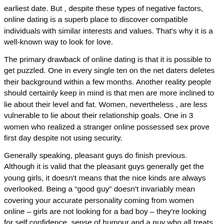earliest date. But , despite these types of negative factors, online dating is a superb place to discover compatible individuals with similar interests and values. That’s why it is a well-known way to look for love.
The primary drawback of online dating is that it is possible to get puzzled. One in every single ten on the net daters deletes their background within a few months. Another reality people should certainly keep in mind is that men are more inclined to lie about their level and fat. Women, nevertheless , are less vulnerable to lie about their relationship goals. One in 3 women who realized a stranger online possessed sex prove first day despite not using security.
Generally speaking, pleasant guys do finish previous. Although it is valid that the pleasant guys generally get the young girls, it doesn’t means that the nice kinds are always overlooked. Being a “good guy” doesn’t invariably mean covering your accurate personality coming from women online – girls are not looking for a bad boy – they’re looking for self confidence, sense of humour and a guy who all treats these respect. So , if you’re planning on altering your persona within the internet, you might like to think again.
Folks who use online dating services have become twice as most likely as more radiant people to have a romantic relationship. While middle-agers are as likely to use online dating services as young adults, the